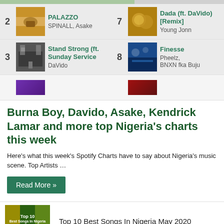[Figure (screenshot): Music chart listing showing ranked songs: #2 PALAZZO by SPINALL, Asake; #3 Stand Strong (ft. Sunday Service) by DaVido; #7 Dada (ft. DaVido) [Remix] by Young Jonn; #8 Finesse by Pheelz, BNXN fka Buju; partial row visible at bottom]
Burna Boy, Davido, Asake, Kendrick Lamar and more top Nigeria's charts this week
Here's what this week's Spotify Charts have to say about Nigeria's music scene. Top Artists …
Read More »
[Figure (screenshot): Thumbnail image: Top 10 Best Songs In Nigeria May 2020]
Top 10 Best Songs In Nigeria May 2020
t Songs in Nigeria April 2020